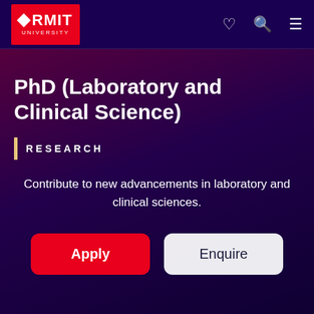[Figure (screenshot): RMIT University website screenshot showing PhD (Laboratory and Clinical Science) course page with dark navy/purple overlay on a laboratory background image, featuring the RMIT logo in the top left navigation bar, heart and search icons, hamburger menu, course title, RESEARCH badge, description text, and Apply/Enquire buttons.]
RMIT UNIVERSITY
PhD (Laboratory and Clinical Science)
RESEARCH
Contribute to new advancements in laboratory and clinical sciences.
Apply
Enquire